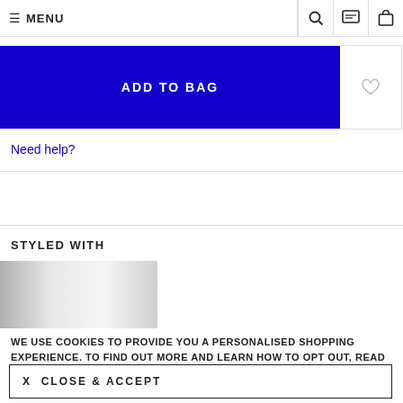MENU
ADD TO BAG
Need help?
STYLED WITH
[Figure (photo): Greyscale gradient image placeholder for styled-with product]
WE USE COOKIES TO PROVIDE YOU A PERSONALISED SHOPPING EXPERIENCE. TO FIND OUT MORE AND LEARN HOW TO OPT OUT, READ OUR COOKIE POLICY
X  CLOSE & ACCEPT